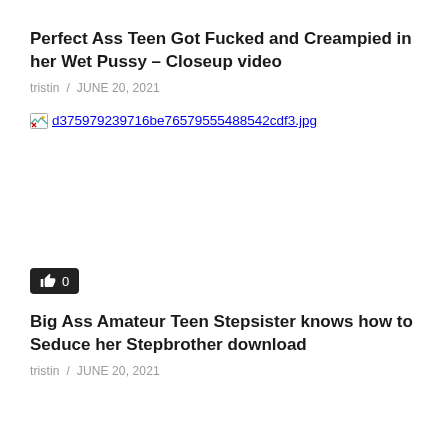Perfect Ass Teen Got Fucked and Creampied in her Wet Pussy – Closeup video
tristin  /  JUNE 20, 2021
[Figure (photo): Broken image placeholder showing filename: d375979239716be76579555488542cdf3.jpg]
0
Big Ass Amateur Teen Stepsister knows how to Seduce her Stepbrother download
tristin  /  JUNE 20, 2021